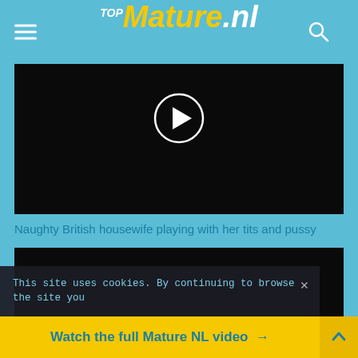TOP Mature.nl
[Figure (screenshot): Black video thumbnail with circular play button (white circle with triangle) in upper center area]
Naughty British housewife playing with her tits and pussy
[Figure (screenshot): Second black video thumbnail]
This site uses cookies. By continuing to browse the site you
Watch the full Mature NL video →